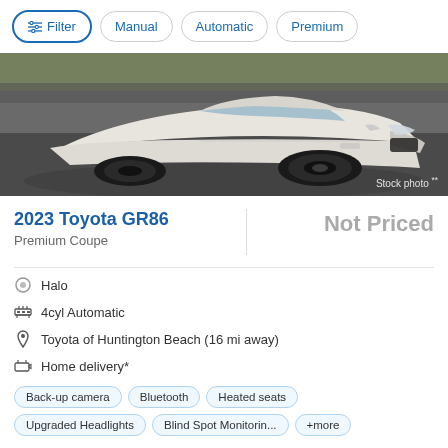Filter | Manual | Automatic | Premium
[Figure (photo): Front 3/4 view of a white 2023 Toyota GR86 sports car on a racetrack, with 'Stock photo **' label in the bottom right corner.]
2023 Toyota GR86
Not Priced
Premium Coupe
Halo
4cyl Automatic
Toyota of Huntington Beach (16 mi away)
Home delivery*
Back-up camera   Bluetooth   Heated seats
Upgraded Headlights   Blind Spot Monitorin...   +more